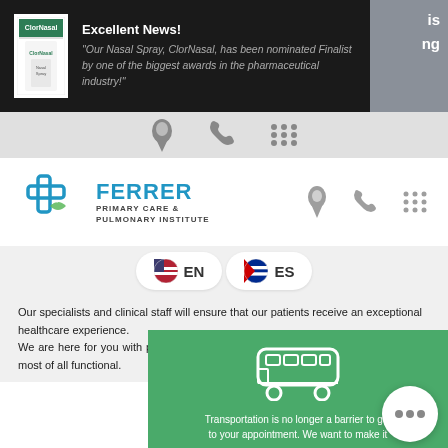[Figure (screenshot): Black banner with ClorNasal product image and Excellent News announcement]
Excellent News!
"Our Nasal Spray, ClorNasal, has been nominated Finalist by one of the biggest awards in the pharmaceutical industry!"
[Figure (logo): Ferrer Primary Care & Pulmonary Institute logo with navigation icons (location pin, phone, grid menu)]
[Figure (infographic): Language selector with EN (US flag) and ES (Cuban flag) buttons]
Our specialists and clinical staff will ensure that our patients receive an exceptional healthcare experience. We are here for you with personalized healthcare to ensure you stay healthy and most of all functional.
[Figure (infographic): Green section with bus icon and FREE TRANSPORTATION title]
Transportation is no longer a barrier to get to your appointment. We want to make it